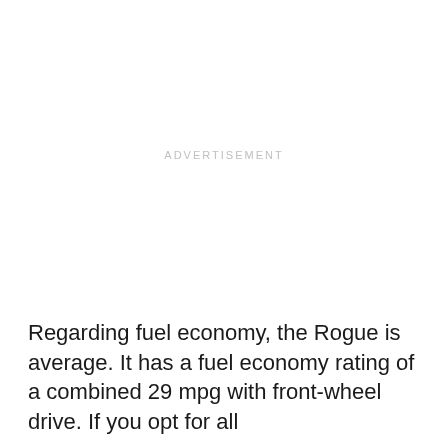[Figure (other): Advertisement placeholder area with 'ADVERTISEMENT' label centered in a large white space]
Regarding fuel economy, the Rogue is average. It has a fuel economy rating of a combined 29 mpg with front-wheel drive. If you opt for all